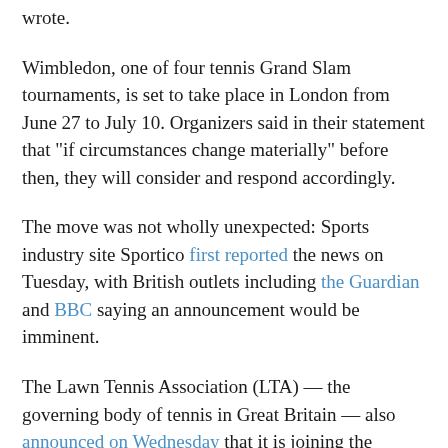wrote.
Wimbledon, one of four tennis Grand Slam tournaments, is set to take place in London from June 27 to July 10. Organizers said in their statement that "if circumstances change materially" before then, they will consider and respond accordingly.
The move was not wholly unexpected: Sports industry site Sportico first reported the news on Tuesday, with British outlets including the Guardian and BBC saying an announcement would be imminent.
The Lawn Tennis Association (LTA) — the governing body of tennis in Great Britain — also announced on Wednesday that it is joining the AELTC in banning Russian and